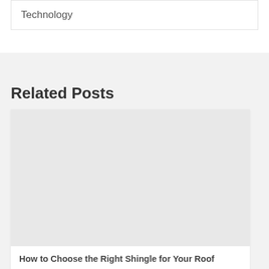Technology
Related Posts
[Figure (other): Gray placeholder image for a related post thumbnail]
How to Choose the Right Shingle for Your Roof
Continue reading...